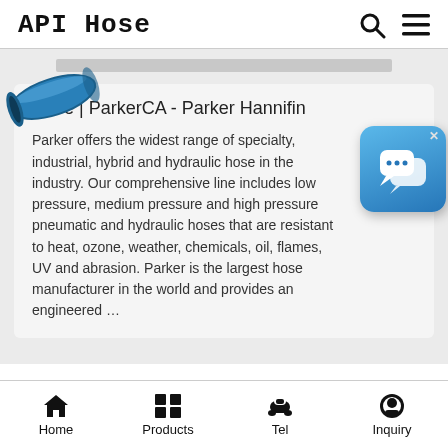API Hose
[Figure (screenshot): Blue industrial hose end-on view, showing the coiled tubular hose in blue color]
Hose | ParkerCA - Parker Hannifin
Parker offers the widest range of specialty, industrial, hybrid and hydraulic hose in the industry. Our comprehensive line includes low pressure, medium pressure and high pressure pneumatic and hydraulic hoses that are resistant to heat, ozone, weather, chemicals, oil, flames, UV and abrasion. Parker is the largest hose manufacturer in the world and provides an engineered …
[Figure (illustration): Blue chat/messaging app icon widget with two speech bubble icons, with an X close button in the top right corner]
Home  Products  Tel  Inquiry